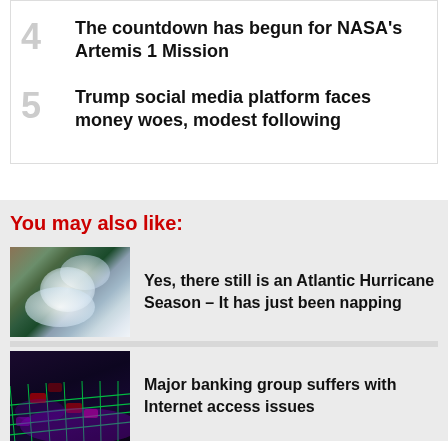4 The countdown has begun for NASA's Artemis 1 Mission
5 Trump social media platform faces money woes, modest following
You may also like:
[Figure (photo): Satellite image of a hurricane or tropical storm system over ocean]
Yes, there still is an Atlantic Hurricane Season – It has just been napping
[Figure (photo): Purple-lit keyboard with red accents, technology background]
Major banking group suffers with Internet access issues